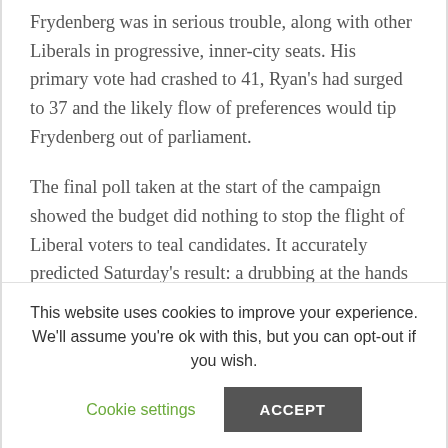Frydenberg was in serious trouble, along with other Liberals in progressive, inner-city seats. His primary vote had crashed to 41, Ryan's had surged to 37 and the likely flow of preferences would tip Frydenberg out of parliament.
The final poll taken at the start of the campaign showed the budget did nothing to stop the flight of Liberal voters to teal candidates. It accurately predicted Saturday's result: a drubbing at the hands of Ryan.
The Morning Edition newsletter is our guide to the
This website uses cookies to improve your experience. We'll assume you're ok with this, but you can opt-out if you wish.